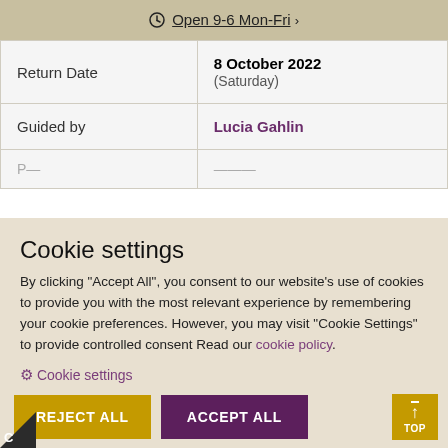Open 9-6 Mon-Fri >
| Return Date | 8 October 2022 (Saturday) |
| Guided by | Lucia Gahlin |
|  |  |
Cookie settings
By clicking "Accept All", you consent to our website's use of cookies to provide you with the most relevant experience by remembering your cookie preferences. However, you may visit "Cookie Settings" to provide controlled consent Read our cookie policy.
Cookie settings
REJECT ALL
ACCEPT ALL